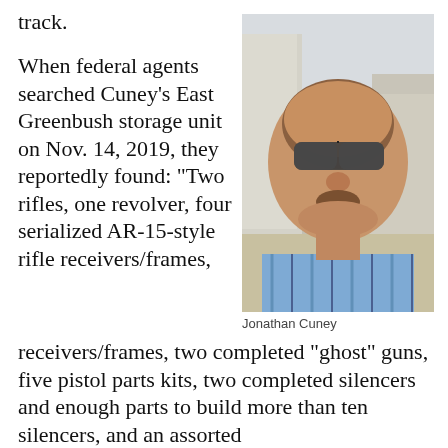track.
When federal agents searched Cuney’s East Greenbush storage unit on Nov. 14, 2019, they reportedly found: “Two rifles, one revolver, four serialized AR-15-style rifle receivers/frames, two completed “ghost” guns, five pistol parts kits, two completed silencers and enough parts to build more than ten silencers, and an assorted
[Figure (photo): Photograph of Jonathan Cuney, a heavyset man wearing sunglasses and a blue striped shirt, with a desert/construction background behind him.]
Jonathan Cuney